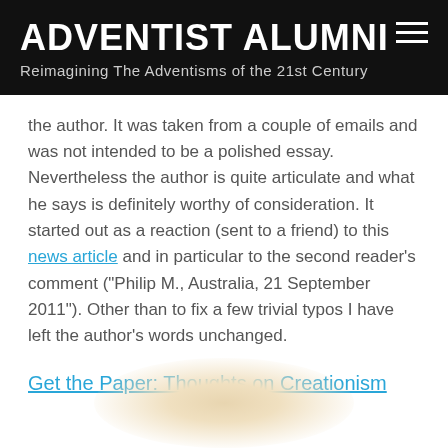ADVENTIST ALUMNI
Reimagining The Adventisms of the 21st Century
the author. It was taken from a couple of emails and was not intended to be a polished essay. Nevertheless the author is quite articulate and what he says is definitely worthy of consideration. It started out as a reaction (sent to a friend) to this news article and in particular to the second reader's comment ("Philip M., Australia, 21 September 2011"). Other than to fix a few trivial typos I have left the author's words unchanged.
Get the Paper: Thoughts on Creationism
[Figure (illustration): Soft glowing circular light orb at the bottom center of the page, warm beige/cream color fading to white]